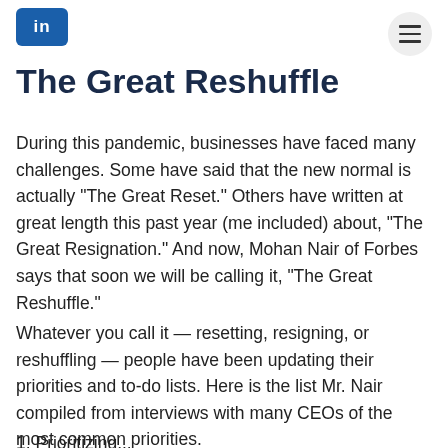[Figure (logo): LinkedIn-style logo icon, blue rounded rectangle with white letters 'in']
The Great Reshuffle
During this pandemic, businesses have faced many challenges. Some have said that the new normal is actually "The Great Reset." Others have written at great length this past year (me included) about, "The Great Resignation." And now, Mohan Nair of Forbes says that soon we will be calling it, "The Great Reshuffle."
Whatever you call it — resetting, resigning, or reshuffling — people have been updating their priorities and to-do lists. Here is the list Mr. Nair compiled from interviews with many CEOs of the most common priorities.
1. Prioritizing...